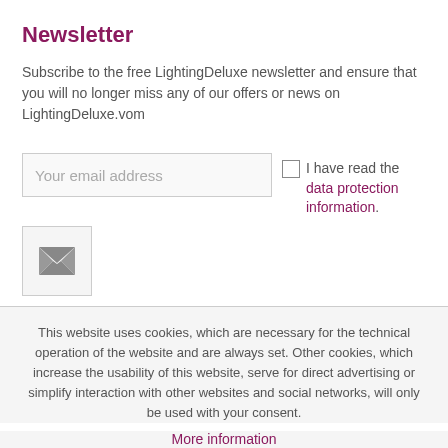Newsletter
Subscribe to the free LightingDeluxe newsletter and ensure that you will no longer miss any of our offers or news on LightingDeluxe.vom
Your email address  [checkbox] I have read the data protection information.
This website uses cookies, which are necessary for the technical operation of the website and are always set. Other cookies, which increase the usability of this website, serve for direct advertising or simplify interaction with other websites and social networks, will only be used with your consent.
More information
Decline  Accept all  Configure